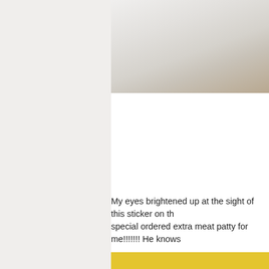[Figure (photo): Top portion of a photo showing a light-colored background, partially cropped]
My eyes brightened up at the sight of this sticker on th... special ordered extra meat patty for me!!!!!!! He knows...
[Figure (photo): Close-up photo of a yellow McDonald's bag with red text reading HOTCAKES BREAKFAST DELUXE and a red circular Special Order sticker with 'i'm lovin' it' and partially visible HOTCAKE SAUSAGE text below]